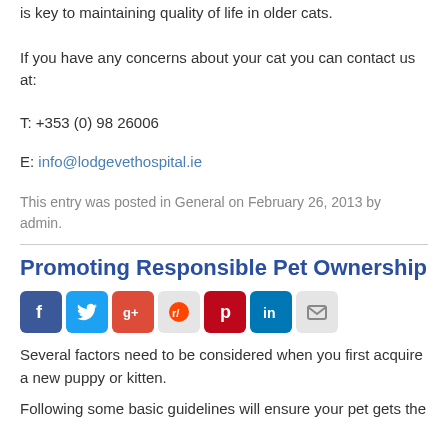is key to maintaining quality of life in older cats.
If you have any concerns about your cat you can contact us at:
T: +353 (0) 98 26006
E: info@lodgevethospital.ie
This entry was posted in General on February 26, 2013 by admin.
Promoting Responsible Pet Ownership
[Figure (other): Social media sharing icons: Facebook, Twitter, Google+, Reddit, Pinterest, LinkedIn, Email]
Several factors need to be considered when you first acquire a new puppy or kitten.
Following some basic guidelines will ensure your pet gets the